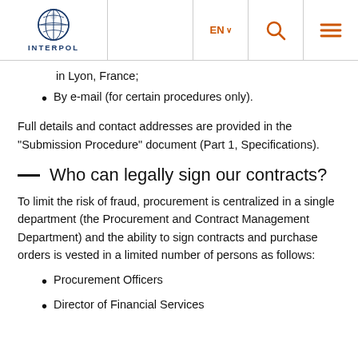INTERPOL | EN | Search | Menu
in Lyon, France;
By e-mail (for certain procedures only).
Full details and contact addresses are provided in the “Submission Procedure” document (Part 1, Specifications).
Who can legally sign our contracts?
To limit the risk of fraud, procurement is centralized in a single department (the Procurement and Contract Management Department) and the ability to sign contracts and purchase orders is vested in a limited number of persons as follows:
Procurement Officers
Director of Financial Services